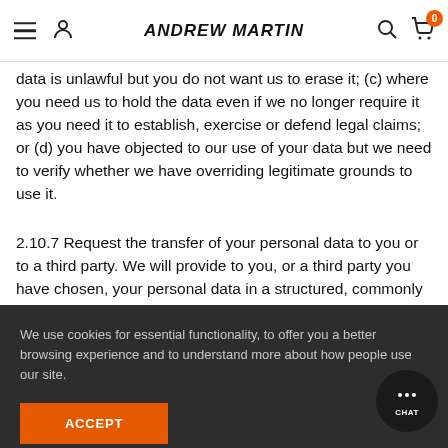ANDREW MARTIN
data is unlawful but you do not want us to erase it; (c) where you need us to hold the data even if we no longer require it as you need it to establish, exercise or defend legal claims; or (d) you have objected to our use of your data but we need to verify whether we have overriding legitimate grounds to use it.
2.10.7 Request the transfer of your personal data to you or to a third party. We will provide to you, or a third party you have chosen, your personal data in a structured, commonly used, machine-readable format. Note that this right only applies to a... d consent fo... perform a c...
2... relying on c... his t a... be... you withdraw your consent. If you withdraw your consent, we
We use cookies for essential functionality, to offer you a better browsing experience and to understand more about how people use our site.
ACCEPT
you withdraw your consent. If you withdraw your consent, we